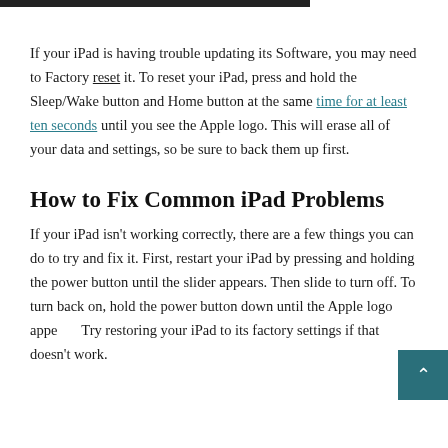If your iPad is having trouble updating its Software, you may need to Factory reset it. To reset your iPad, press and hold the Sleep/Wake button and Home button at the same time for at least ten seconds until you see the Apple logo. This will erase all of your data and settings, so be sure to back them up first.
How to Fix Common iPad Problems
If your iPad isn't working correctly, there are a few things you can do to try and fix it. First, restart your iPad by pressing and holding the power button until the slider appears. Then slide to turn off. To turn back on, hold the power button down until the Apple logo appears. Try restoring your iPad to its factory settings if that doesn't work.